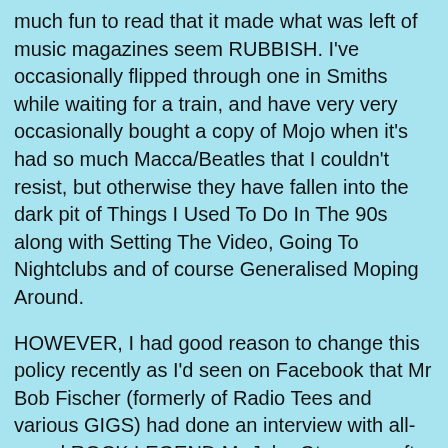much fun to read that it made what was left of music magazines seem RUBBISH. I've occasionally flipped through one in Smiths while waiting for a train, and have very very occasionally bought a copy of Mojo when it's had so much Macca/Beatles that I couldn't resist, but otherwise they have fallen into the dark pit of Things I Used To Do In The 90s along with Setting The Video, Going To Nightclubs and of course Generalised Moping Around.
HOWEVER, I had good reason to change this policy recently as I'd seen on Facebook that Mr Bob Fischer (formerly of Radio Tees and various GIGS) had done an interview with all-round ROCK LEGEND Mr John Otway, so after a bit of hunting around I SOURCED a copy of The rest of the magazine is a STRANGE experience though, as it feels very much like a PRETEND magazine featuring PRETEND bands, like set dressing on a movie or something. Even the cover is like this - it's meant to be LINDISFARNE, who I know are REAL, but I am sure that the image they use includes Ade Edmenson and Jody Comer (with her Jesus beard